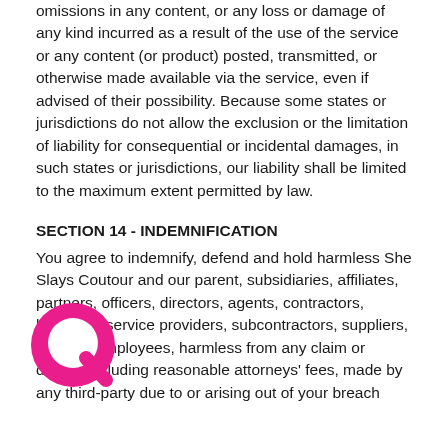omissions in any content, or any loss or damage of any kind incurred as a result of the use of the service or any content (or product) posted, transmitted, or otherwise made available via the service, even if advised of their possibility. Because some states or jurisdictions do not allow the exclusion or the limitation of liability for consequential or incidental damages, in such states or jurisdictions, our liability shall be limited to the maximum extent permitted by law.
SECTION 14 - INDEMNIFICATION
You agree to indemnify, defend and hold harmless She Slays Coutour and our parent, subsidiaries, affiliates, partners, officers, directors, agents, contractors, licensors, service providers, subcontractors, suppliers, insured employees, harmless from any claim or demand, including reasonable attorneys' fees, made by any third-party due to or arising out of your breach
[Figure (logo): Circular logo with a stylized Q shape in magenta/pink on white background, partially overlapping text]